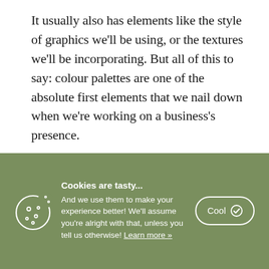It usually also has elements like the style of graphics we'll be using, or the textures we'll be incorporating. But all of this to say: colour palettes are one of the absolute first elements that we nail down when we're working on a business's presence.
THE IMPORTANCE OF YOUR PALETTE
This is because your palette sets the tone for your
[Figure (infographic): Cookie consent banner with olive/sage green background. Contains a cookie icon on the left, text 'Cookies are tasty...' in bold followed by 'And we use them to make your experience better! We'll assume you're alright with that, unless you tell us otherwise! Learn more »', and a 'Cool ✓' button with rounded border on the right.]